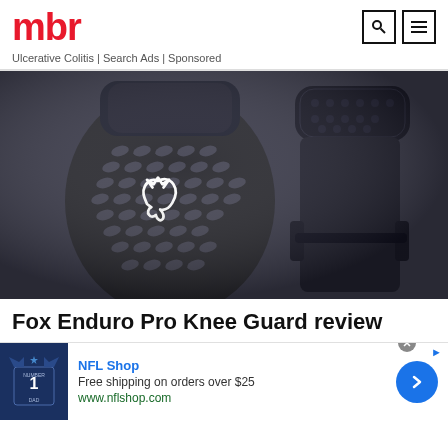mbr
Ulcerative Colitis | Search Ads | Sponsored
[Figure (photo): Fox Enduro Pro Knee Guard product photo showing two black knee pads with textured grip pattern and Fox Racing logo]
Fox Enduro Pro Knee Guard review
NFL Shop
Free shipping on orders over $25
www.nflshop.com